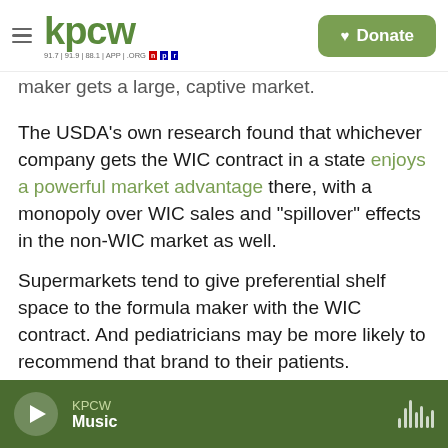KPCW — 91.7 | 91.9 | 88.1 | APP | .ORG | NPR | Donate
maker gets a large, captive market.
The USDA's own research found that whichever company gets the WIC contract in a state enjoys a powerful market advantage there, with a monopoly over WIC sales and "spillover" effects in the non-WIC market as well.
Supermarkets tend to give preferential shelf space to the formula maker with the WIC contract. And pediatricians may be more likely to recommend that brand to their patients.
"Because the WIC program is such a large
KPCW — Music